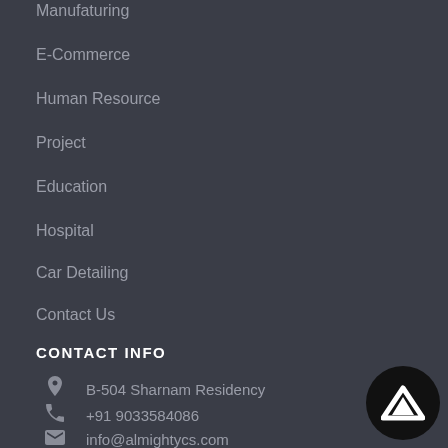Manufaturing
E-Commerce
Human Resource
Project
Education
Hospital
Car Detailing
Contact Us
CONTACT INFO
B-504 Sharnam Residency
+91 9033584086
info@almightycs.com
[Figure (logo): Almighty CS logo — white triangle/arrow on black circle]